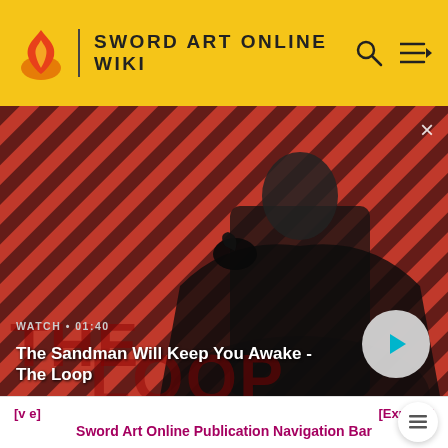SWORD ART ONLINE WIKI
[Figure (screenshot): Video thumbnail showing a dark figure in a black cape with a raven on their shoulder, set against a diagonal red and black striped background. Text in lower left reads 'WATCH • 01:40'. Title reads 'The Sandman Will Keep You Awake - The Loop'. A circular play button is visible on the right side. A close (×) button appears in the top right corner.]
[v e]    [Expand]
Sword Art Online Publication Navigation Bar